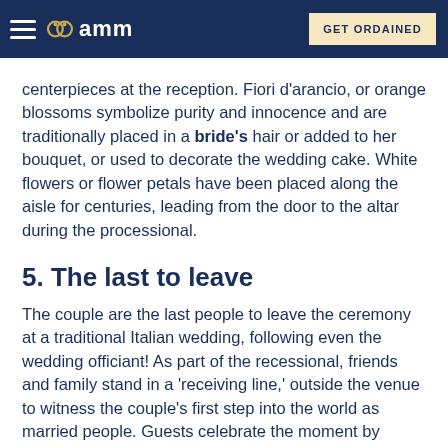amm | GET ORDAINED
centerpieces at the reception. Fiori d'arancio, or orange blossoms symbolize purity and innocence and are traditionally placed in a bride's hair or added to her bouquet, or used to decorate the wedding cake. White flowers or flower petals have been placed along the aisle for centuries, leading from the door to the altar during the processional.
5. The last to leave
The couple are the last people to leave the ceremony at a traditional Italian wedding, following even the wedding officiant! As part of the recessional, friends and family stand in a 'receiving line,' outside the venue to witness the couple's first step into the world as married people. Guests celebrate the moment by tossing colorful paper confetti or rice and shouting "Evvi...